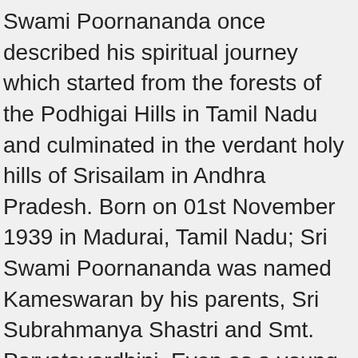Swami Poornananda once described his spiritual journey which started from the forests of the Podhigai Hills in Tamil Nadu and culminated in the verdant holy hills of Srisailam in Andhra Pradesh. Born on 01st November 1939 in Madurai, Tamil Nadu; Sri Swami Poornananda was named Kameswaran by his parents, Sri Subrahmanya Shastri and Smt. Parvatavardhini. Even as a young boy, Swamiji exhibited extraordinary insight and intelligence much beyond his age. He showed deep devotion and yearning for God and